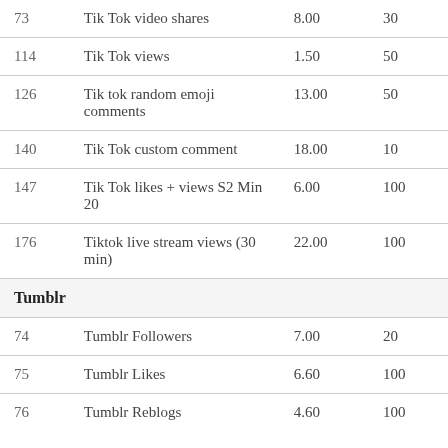| # | Service | Price | Min |
| --- | --- | --- | --- |
| 73 | Tik Tok video shares | 8.00 | 30 |
| 114 | Tik Tok views | 1.50 | 50 |
| 126 | Tik tok random emoji comments | 13.00 | 50 |
| 140 | Tik Tok custom comment | 18.00 | 10 |
| 147 | Tik Tok likes + views S2 Min 20 | 6.00 | 100 |
| 176 | Tiktok live stream views (30 min) | 22.00 | 100 |
|  | Tumblr |  |  |
| 74 | Tumblr Followers | 7.00 | 20 |
| 75 | Tumblr Likes | 6.60 | 100 |
| 76 | Tumblr Reblogs | 4.60 | 100 |